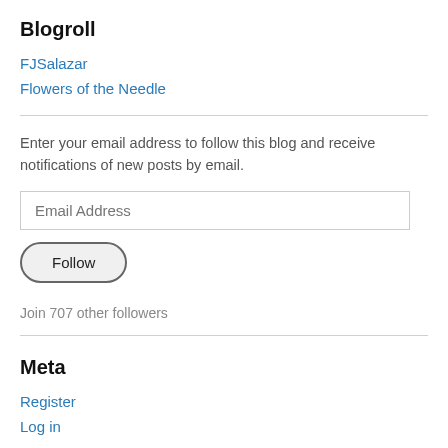Blogroll
FJSalazar
Flowers of the Needle
Enter your email address to follow this blog and receive notifications of new posts by email.
Email Address
Follow
Join 707 other followers
Meta
Register
Log in